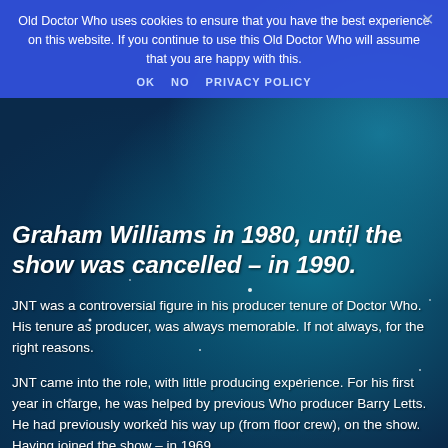Old Doctor Who uses cookies to ensure that you have the best experience on this website. If you continue to use this Old Doctor Who will assume that you are happy with this.
OK  NO  PRIVACY POLICY
Graham Williams in 1980, until the show was cancelled – in 1990.
JNT was a controversial figure in his producer tenure of Doctor Who. His tenure as producer, was always memorable. If not always, for the right reasons.
JNT came into the role, with little producing experience. For his first year in charge, he was helped by previous Who producer Barry Letts. He had previously worked his way up (from floor crew), on the show. Having joined the show – in 1969.
His first task as producer, was to manage the final season of Tom Baker (who had decided to leave the show) and plan for a new fifth incoming Doctor.